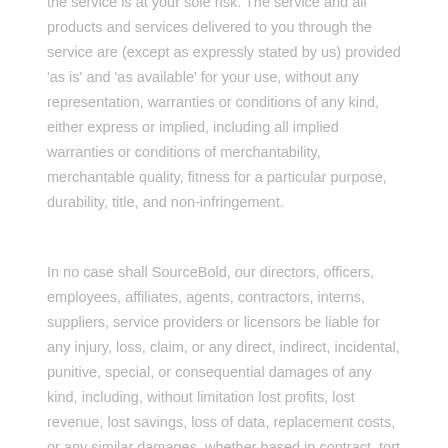the service is at your sole risk. The service and all products and services delivered to you through the service are (except as expressly stated by us) provided 'as is' and 'as available' for your use, without any representation, warranties or conditions of any kind, either express or implied, including all implied warranties or conditions of merchantability, merchantable quality, fitness for a particular purpose, durability, title, and non-infringement.
In no case shall SourceBold, our directors, officers, employees, affiliates, agents, contractors, interns, suppliers, service providers or licensors be liable for any injury, loss, claim, or any direct, indirect, incidental, punitive, special, or consequential damages of any kind, including, without limitation lost profits, lost revenue, lost savings, loss of data, replacement costs, or any similar damages, whether based in contract, tort